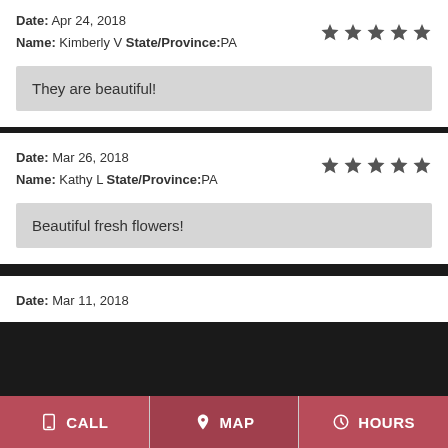Date: Apr 24, 2018
Name: Kimberly V
State/Province: PA
They are beautiful!
Date: Mar 26, 2018
Name: Kathy L
State/Province: PA
Beautiful fresh flowers!
Date: Mar 11, 2018
CALL  MAP  HOURS